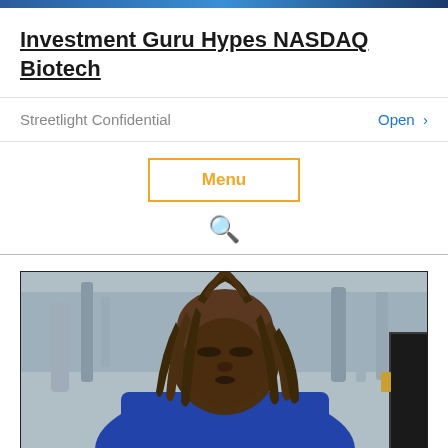Investment Guru Hypes NASDAQ Biotech
Streetlight Confidential   Open >
Menu
🔍
[Figure (photo): A Black man with dreadlocks wearing a blue jacket, photographed outdoors near pipes and industrial structures, looking downward.]